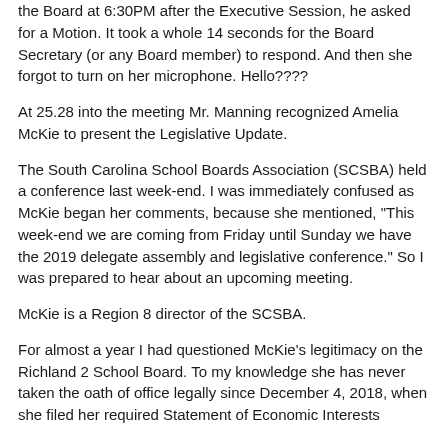the Board at 6:30PM after the Executive Session, he asked for a Motion. It took a whole 14 seconds for the Board Secretary (or any Board member) to respond. And then she forgot to turn on her microphone. Hello????
At 25.28 into the meeting Mr. Manning recognized Amelia McKie to present the Legislative Update.
The South Carolina School Boards Association (SCSBA) held a conference last week-end. I was immediately confused as McKie began her comments, because she mentioned, "This week-end we are coming from Friday until Sunday we have the 2019 delegate assembly and legislative conference." So I was prepared to hear about an upcoming meeting.
McKie is a Region 8 director of the SCSBA.
For almost a year I had questioned McKie's legitimacy on the Richland 2 School Board. To my knowledge she has never taken the oath of office legally since December 4, 2018, when she filed her required Statement of Economic Interests